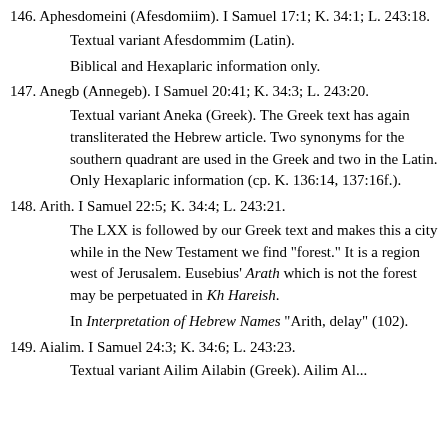146. Aphesdomeini (Afesdomiim). I Samuel 17:1; K. 34:1; L. 243:18.
Textual variant Afesdommim (Latin).
Biblical and Hexaplaric information only.
147. Anegb (Annegeb). I Samuel 20:41; K. 34:3; L. 243:20.
Textual variant Aneka (Greek). The Greek text has again transliterated the Hebrew article. Two synonyms for the southern quadrant are used in the Greek and two in the Latin. Only Hexaplaric information (cp. K. 136:14, 137:16f.).
148. Arith. I Samuel 22:5; K. 34:4; L. 243:21.
The LXX is followed by our Greek text and makes this a city while in the New Testament we find "forest." It is a region west of Jerusalem. Eusebius' Arath which is not the forest may be perpetuated in Kh Hareish.
In Interpretation of Hebrew Names "Arith, delay" (102).
149. Aialim. I Samuel 24:3; K. 34:6; L. 243:23.
Textual variant Ailim Ailabin (Greek). Ailim Al...